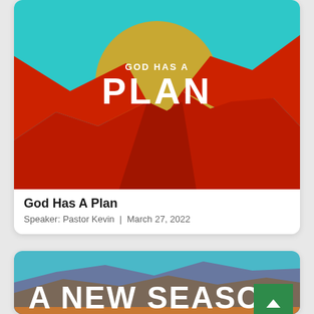[Figure (illustration): Sermon series artwork: Red canyon landscape with teal sky and large golden/olive circle, text reads 'GOD HAS A' above large bold 'PLAN']
God Has A Plan
Speaker: Pastor Kevin  |  March 27, 2022
[Figure (illustration): Sermon series artwork: Desert mountain landscape with teal sky, purple/brown mountains, and large bold white text 'A NEW SEASON']